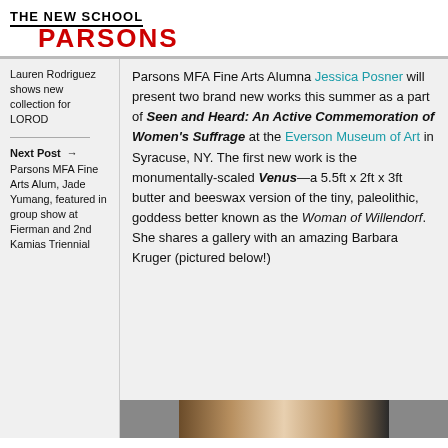THE NEW SCHOOL PARSONS
Lauren Rodriguez shows new collection for LOROD
Next Post → Parsons MFA Fine Arts Alum, Jade Yumang, featured in group show at Fierman and 2nd Kamias Triennial
Parsons MFA Fine Arts Alumna Jessica Posner will present two brand new works this summer as a part of Seen and Heard: An Active Commemoration of Women's Suffrage at the Everson Museum of Art in Syracuse, NY. The first new work is the monumentally-scaled Venus—a 5.5ft x 2ft x 3ft butter and beeswax version of the tiny, paleolithic, goddess better known as the Woman of Willendorf. She shares a gallery with an amazing Barbara Kruger (pictured below!)
[Figure (photo): Partial photo visible at bottom of page]